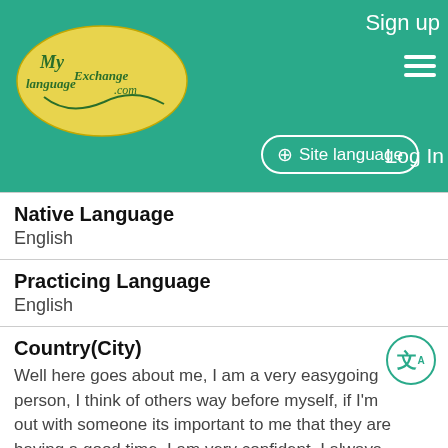[Figure (screenshot): MyLanguageExchange.com website header with teal background, logo, Sign up, hamburger menu, Site language button, and Log In link]
Native Language
English
Practicing Language
English
Country(City)
Well here goes about me, I am a very easygoing person, I think of others way before myself, if I'm out with someone its important to me that they are having a good time, I am very confident, I always know what I want in life. I rarely give in, and see things though.
Name
[Figure (photo): Profile photo of a woman with her hair up]